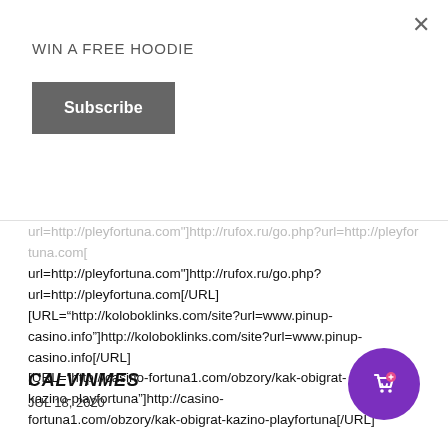WIN A FREE HOODIE
Subscribe
url=http://pleyfortuna.com"]http://rufox.ru/go.php?url=http://pleyfortuna.com[/URL]
[URL="http://koloboklinks.com/site?url=www.pinup-casino.info"]http://koloboklinks.com/site?url=www.pinup-casino.info[/URL]
[URL="http://casino-fortuna1.com/obzory/kak-obigrat-kazino-playfortuna"]http://casino-fortuna1.com/obzory/kak-obigrat-kazino-playfortuna[/URL]
CALVINMES
JUL 18, 2020